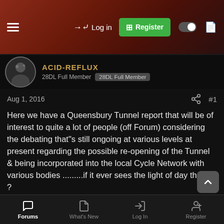Log in | Register
ACID-REFLUX
28DL Full Member  28DL Full Member
Aug 1, 2016  #1
Here we have a Queensbury Tunnel report that will be of interest to quite a lot of people (off Forum) considering the debating that"s still ongoing at various levels at present regarding the possible re-opening of the Tunnel & being incorporated into the local Cycle Network with various bodies .........if it ever sees the light of day that is ?
At the time of writing following a lengthy time actually pumping the Tunnel out (repeatedly it seems?) and various organisations inspecting the Tunnel, the projected costs for reinforcing around the
Forums  What's New  Log In  Register